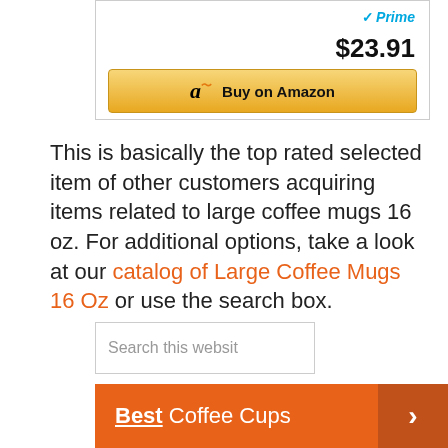[Figure (screenshot): Amazon Prime logo with blue checkmark and 'Prime' text in blue italic]
$23.91
[Figure (screenshot): Buy on Amazon button with Amazon logo and orange arrow underline]
This is basically the top rated selected item of other customers acquiring items related to large coffee mugs 16 oz. For additional options, take a look at our catalog of Large Coffee Mugs 16 Oz or use the search box.
[Figure (screenshot): Search this website input box]
Best Coffee Cups